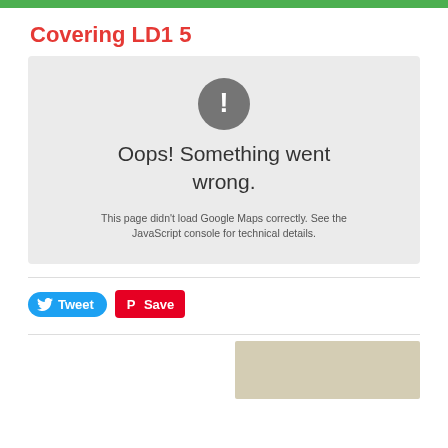Covering LD1 5
[Figure (screenshot): Google Maps error box with grey background, exclamation mark icon in dark grey circle, text 'Oops! Something went wrong.' and sub-text 'This page didn't load Google Maps correctly. See the JavaScript console for technical details.']
Tweet
Save
[Figure (map): Partial map preview in beige/tan color at bottom right]